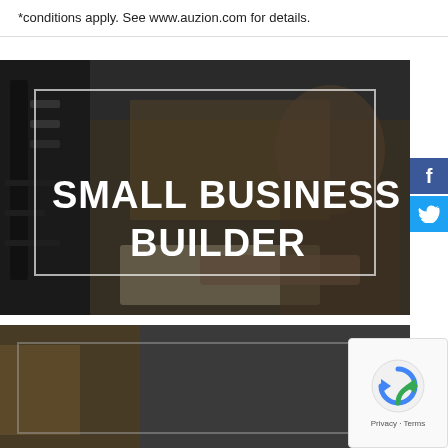*conditions apply. See www.auzion.com for details.
[Figure (photo): Dark photo of a man working at a laptop in an industrial workshop setting. Overlaid white text reads 'SMALL BUSINESS BUILDER' inside a thin white rectangular border. Facebook and Twitter share buttons visible on the right side.]
[Figure (photo): Partially visible bottom photo with dark/warm toned background, appears to be another business scene. A reCAPTCHA box is visible overlaid in the bottom right corner.]